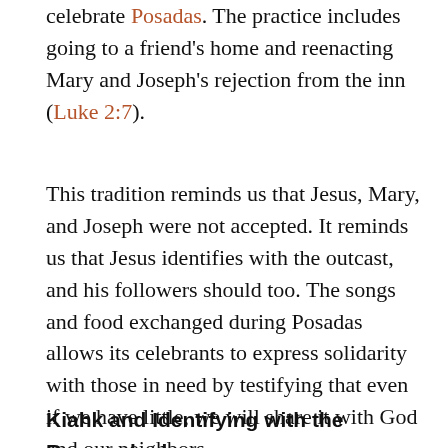celebrate Posadas. The practice includes going to a friend's home and reenacting Mary and Joseph's rejection from the inn (Luke 2:7).
This tradition reminds us that Jesus, Mary, and Joseph were not accepted. It reminds us that Jesus identifies with the outcast, and his followers should too. The songs and food exchanged during Posadas allows its celebrants to express solidarity with those in need by testifying that even if we have little, we will share it with God and our neighbors.
Kiahk and Identifying with the Reproached